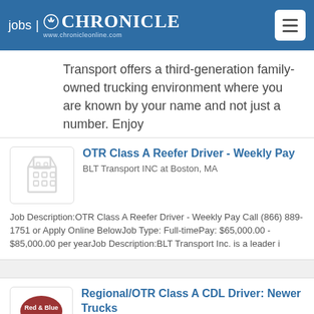jobs | CHRONICLE www.chronicleonline.com
Transport offers a third-generation family-owned trucking environment where you are known by your name and not just a number. Enjoy
OTR Class A Reefer Driver - Weekly Pay
BLT Transport INC at Boston, MA
Job Description:OTR Class A Reefer Driver - Weekly Pay Call (866) 889-1751 or Apply Online BelowJob Type: Full-timePay: $65,000.00 - $85,000.00 per yearJob Description:BLT Transport Inc. is a leader i
Regional/OTR Class A CDL Driver: Newer Trucks